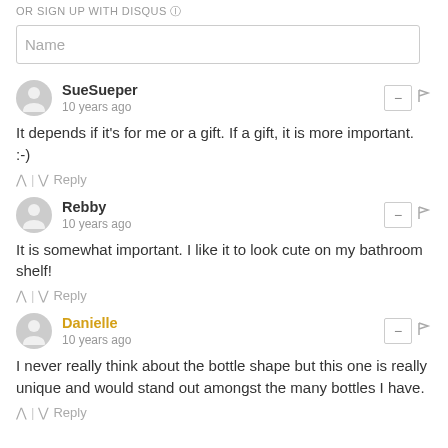OR SIGN UP WITH DISQUS ?
Name
SueSueper
10 years ago
It depends if it's for me or a gift. If a gift, it is more important. :-)
Rebby
10 years ago
It is somewhat important. I like it to look cute on my bathroom shelf!
Danielle
10 years ago
I never really think about the bottle shape but this one is really unique and would stand out amongst the many bottles I have.